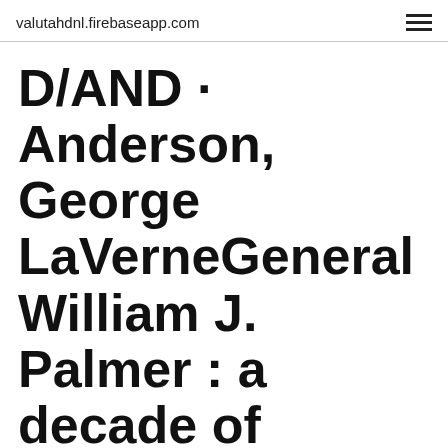valutahdnl.firebaseapp.com
D/AND · Anderson, George LaVerneGeneral William J. Palmer : a decade of pA/HIS · Buchwald, Vagn FabritiusIron, steel